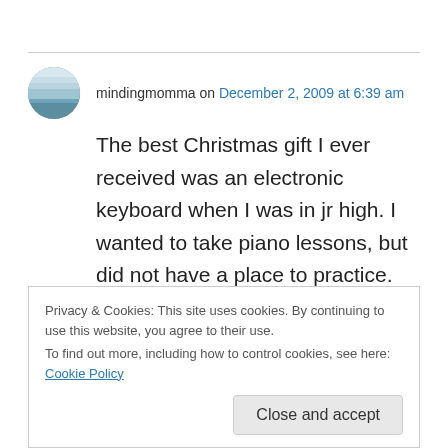mindingmomma on December 2, 2009 at 6:39 am
The best Christmas gift I ever received was an electronic keyboard when I was in jr high. I wanted to take piano lessons, but did not have a place to practice. That keyboard gave my parents many headaches, and my brother and I
Privacy & Cookies: This site uses cookies. By continuing to use this website, you agree to their use.
To find out more, including how to control cookies, see here: Cookie Policy
Close and accept